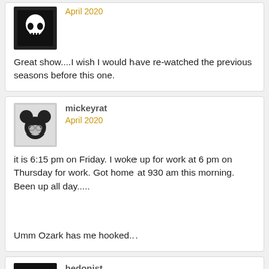April 2020
Great show....I wish I would have re-watched the previous seasons before this one.
mickeyrat
April 2020
it is 6:15 pm on Friday. I woke up for work at 6 pm on Thursday for work. Got home at 930 am this morning. Been up all day.....
Umm Ozark has me hooked...
hedonist
April 2020